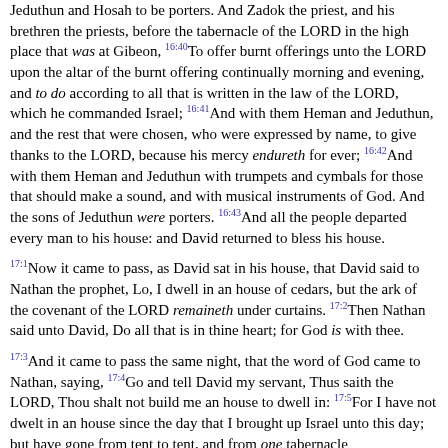Jeduthun and Hosah to be porters. And Zadok the priest, and his brethren the priests, before the tabernacle of the LORD in the high place that was at Gibeon, 16:40To offer burnt offerings unto the LORD upon the altar of the burnt offering continually morning and evening, and to do according to all that is written in the law of the LORD, which he commanded Israel; 16:41And with them Heman and Jeduthun, and the rest that were chosen, who were expressed by name, to give thanks to the LORD, because his mercy endureth for ever; 16:42And with them Heman and Jeduthun with trumpets and cymbals for those that should make a sound, and with musical instruments of God. And the sons of Jeduthun were porters. 16:43And all the people departed every man to his house: and David returned to bless his house.
17:1Now it came to pass, as David sat in his house, that David said to Nathan the prophet, Lo, I dwell in an house of cedars, but the ark of the covenant of the LORD remaineth under curtains. 17:2Then Nathan said unto David, Do all that is in thine heart; for God is with thee.
17:3And it came to pass the same night, that the word of God came to Nathan, saying, 17:4Go and tell David my servant, Thus saith the LORD, Thou shalt not build me an house to dwell in: 17:5For I have not dwelt in an house since the day that I brought up Israel unto this day; but have gone from tent to tent, and from one tabernacle